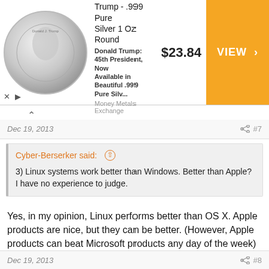[Figure (screenshot): Advertisement banner for 'President Trump - .999 Pure Silver 1 Oz Round' priced at $23.84 with a VIEW button, from Money Metals Exchange]
Dec 19, 2013   #7
Cyber-Berserker said:
3) Linux systems work better than Windows. Better than Apple? I have no experience to judge.
Yes, in my opinion, Linux performs better than OS X. Apple products are nice, but they can be better. (However, Apple products can beat Microsoft products any day of the week)
arochester
Guest
Dec 19, 2013   #8